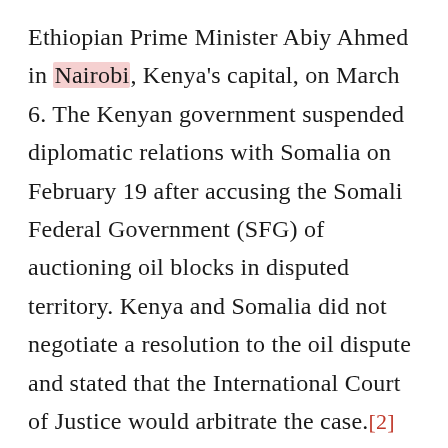Ethiopian Prime Minister Abiy Ahmed in Nairobi, Kenya's capital, on March 6. The Kenyan government suspended diplomatic relations with Somalia on February 19 after accusing the Somali Federal Government (SFG) of auctioning oil blocks in disputed territory. Kenya and Somalia did not negotiate a resolution to the oil dispute and stated that the International Court of Justice would arbitrate the case.[2]